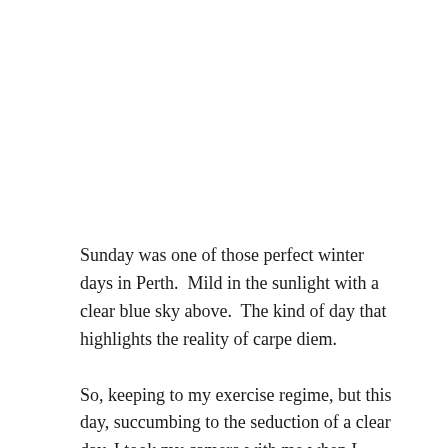Sunday was one of those perfect winter days in Perth.  Mild in the sunlight with a clear blue sky above.  The kind of day that highlights the reality of carpe diem.
So, keeping to my exercise regime, but this day, succumbing to the seduction of a clear day, I took my camera with me when I walked to the